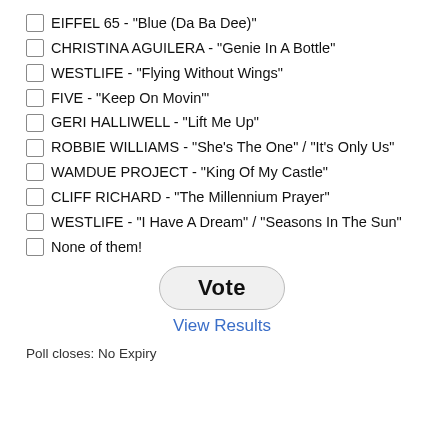EIFFEL 65 - "Blue (Da Ba Dee)"
CHRISTINA AGUILERA - "Genie In A Bottle"
WESTLIFE - "Flying Without Wings"
FIVE - "Keep On Movin'"
GERI HALLIWELL - "Lift Me Up"
ROBBIE WILLIAMS - "She's The One" / "It's Only Us"
WAMDUE PROJECT - "King Of My Castle"
CLIFF RICHARD - "The Millennium Prayer"
WESTLIFE - "I Have A Dream" / "Seasons In The Sun"
None of them!
Vote
View Results
Poll closes: No Expiry